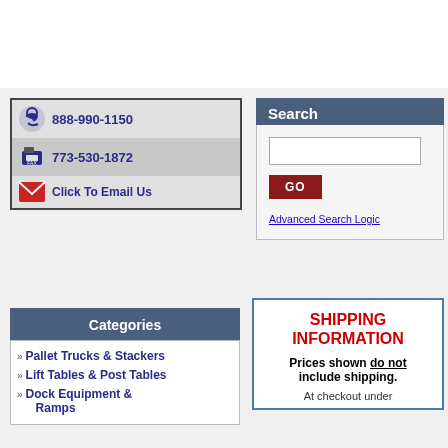[Figure (infographic): Contact information box with phone headset icon showing 888-990-1150, fax icon showing 773-530-1872, and email envelope icon with Click To Email Us text]
Search
[Figure (screenshot): Search input box, GO button, and Advanced Search Logic link]
Categories
Pallet Trucks & Stackers
Lift Tables & Post Tables
Dock Equipment & Ramps
SHIPPING INFORMATION
Prices shown do not include shipping.
At checkout under